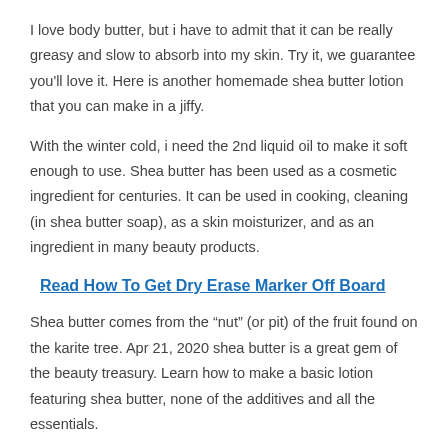I love body butter, but i have to admit that it can be really greasy and slow to absorb into my skin. Try it, we guarantee you'll love it. Here is another homemade shea butter lotion that you can make in a jiffy.
With the winter cold, i need the 2nd liquid oil to make it soft enough to use. Shea butter has been used as a cosmetic ingredient for centuries. It can be used in cooking, cleaning (in shea butter soap), as a skin moisturizer, and as an ingredient in many beauty products.
Read  How To Get Dry Erase Marker Off Board
Shea butter comes from the “nut” (or pit) of the fruit found on the karite tree. Apr 21, 2020 shea butter is a great gem of the beauty treasury. Learn how to make a basic lotion featuring shea butter, none of the additives and all the essentials.